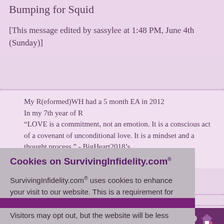Bumping for Squid
[This message edited by sassylee at 1:48 PM, June 4th (Sunday)]
My R(eformed)WH had a 5 month EA in 2012
In my 7th year of R
“LOVE is a commitment, not an emotion. It is a conscious act of a covenant of unconditional love. It is a mindset and a thought process.” - BigHeart2018’s Professor
id 7882355
Policy
Cookies on SurvivingInfidelity.com®
SurvivingInfidelity.com® uses cookies to enhance your visit to our website. This is a requirement for participants to login, post and use other features. Visitors may opt out, but the website will be less functional for you.